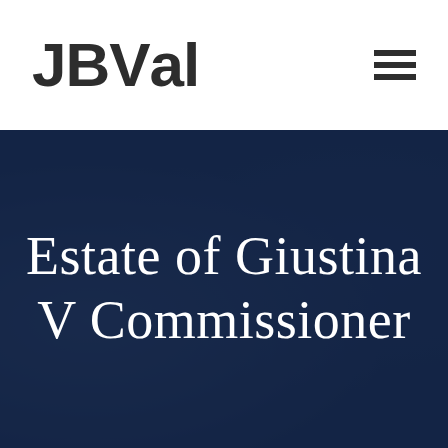[Figure (logo): JBVal logo in bold dark sans-serif text with hamburger menu icon]
Estate of Giustina V Commissioner